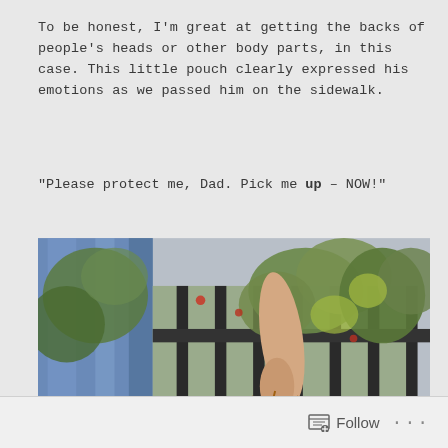To be honest, I'm great at getting the backs of people's heads or other body parts, in this case. This little pouch clearly expressed his emotions as we passed him on the sidewalk.
"Please protect me, Dad. Pick me up – NOW!"
[Figure (photo): A small terrier-mix dog in a green sweater being held up by a person's arm near a black metal fence with green foliage in the background. The dog appears to be clinging to the person's leg, looking anxious.]
Follow ...